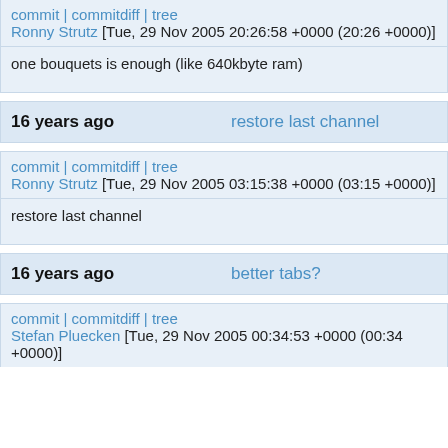commit | commitdiff | tree
Ronny Strutz [Tue, 29 Nov 2005 20:26:58 +0000 (20:26 +0000)]
one bouquets is enough (like 640kbyte ram)
16 years ago    restore last channel
commit | commitdiff | tree
Ronny Strutz [Tue, 29 Nov 2005 03:15:38 +0000 (03:15 +0000)]
restore last channel
16 years ago    better tabs?
commit | commitdiff | tree
Stefan Pluecken [Tue, 29 Nov 2005 00:34:53 +0000 (00:34 +0000)]